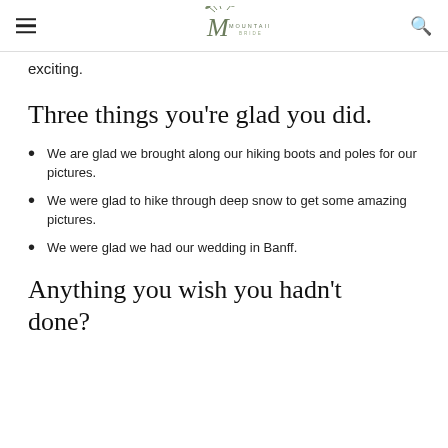Mountainside Bride — navigation header
exciting.
Three things you're glad you did.
We are glad we brought along our hiking boots and poles for our pictures.
We were glad to hike through deep snow to get some amazing pictures.
We were glad we had our wedding in Banff.
Anything you wish you hadn't done?